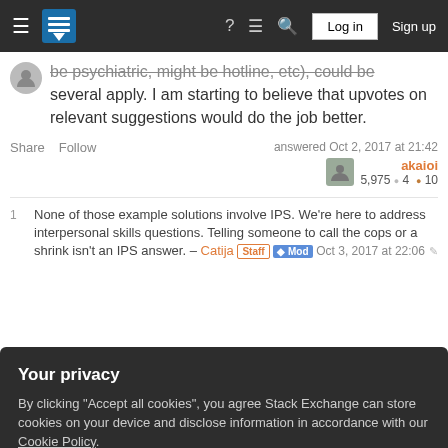Stack Exchange navigation bar with Log in and Sign up buttons
be psychiatric, might be hotline, etc), could be several apply. I am starting to believe that upvotes on relevant suggestions would do the job better.
Share  Follow   answered Oct 2, 2017 at 21:42   akaioi  5,975 ●4 ●10
1  None of those example solutions involve IPS. We're here to address interpersonal skills questions. Telling someone to call the cops or a shrink isn't an IPS answer. – Catija Staff ♦ Mod  Oct 3, 2017 at 22:06
Your privacy
By clicking "Accept all cookies", you agree Stack Exchange can store cookies on your device and disclose information in accordance with our Cookie Policy.
Accept all cookies    Customize settings
3, 2017 at 22:18